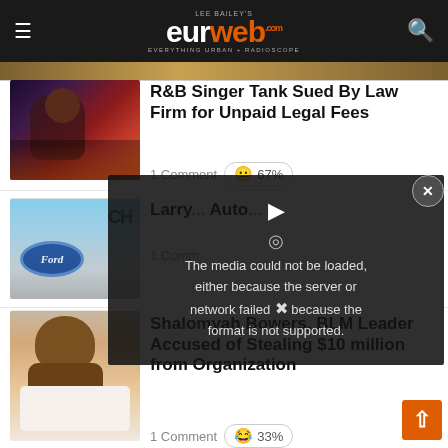LEE BAILEY'S eurweb.com — EVERYTHING URBAN + RADIOSCOPE
[Figure (photo): R&B singer performing on stage with red and blue stage lights]
R&B Singer Tank Sued By Law Firm for Unpaid Legal Fees
1 Comment 😐 67%
[Figure (photo): Ford dealership sign with Chevrolet sign in background]
Larry... Auto...
1 Comm...
[Figure (photo): Video player error overlay: The media could not be loaded either because the server or network failed or because the format is not supported.]
[Figure (photo): Portrait of a man looking upward, wearing a white shirt]
Shalomyah Bowers, BLM Leader Accused of Stealing $10 million from Organization
1 Comment 😂 33%